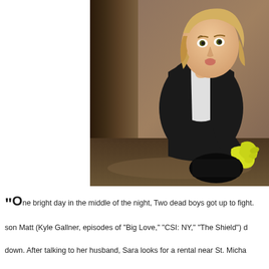[Figure (photo): A woman with blonde hair wearing a black top and yellow rubber gloves, crouching and looking up with a surprised expression, in what appears to be a wooden interior setting.]
"One bright day in the middle of the night, Two dead boys got up to fight. son Matt (Kyle Gallner, episodes of "Big Love," "CSI: NY," "The Shield") down. After talking to her husband, Sara looks for a rental near St. Micha Quiet") will commute on weekends, but his wife, Matt, younger siblings B Drive") pack up their belongings to move into what they do not yet kn